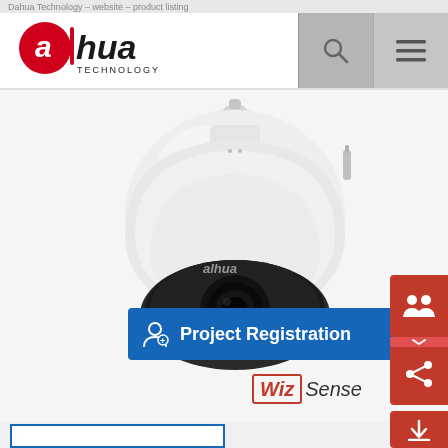Dahua Technology website product listing
[Figure (logo): Dahua Technology red and black logo with stylized 'a' in circle and text 'alhua TECHNOLOGY']
[Figure (photo): Dahua PTZ dome security camera, white housing with black base, alhua branding on front]
Project Registration
[Figure (logo): WizSense brand badge in red italic box with 'Sense' in black italic]